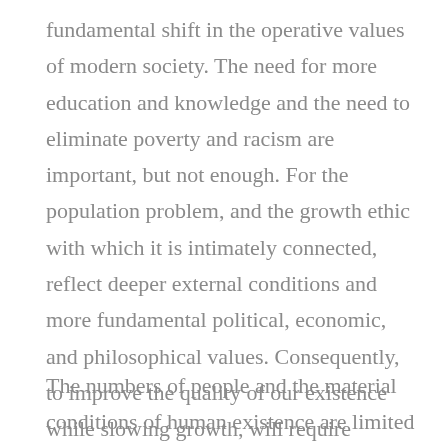fundamental shift in the operative values of modern society. The need for more education and knowledge and the need to eliminate poverty and racism are important, but not enough. For the population problem, and the growth ethic with which it is intimately connected, reflect deeper external conditions and more fundamental political, economic, and philosophical values. Consequently, to improve the quality of our existence while slowing growth, will require nothing less than a basic recasting of American values.
The numbers of people and the material conditions of human existence are limited by the external